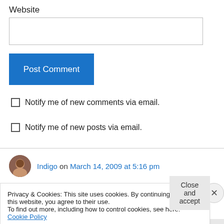Website
[Figure (screenshot): Website text input field (empty)]
[Figure (screenshot): Post Comment blue button]
Notify me of new comments via email.
Notify me of new posts via email.
Indigo on March 14, 2009 at 5:16 pm
Privacy & Cookies: This site uses cookies. By continuing to use this website, you agree to their use.
To find out more, including how to control cookies, see here: Cookie Policy
Close and accept